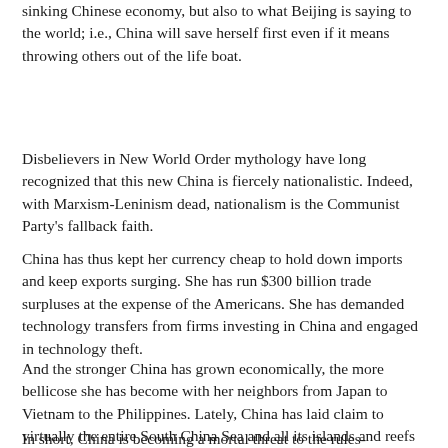sinking Chinese economy, but also to what Beijing is saying to the world; i.e., China will save herself first even if it means throwing others out of the life boat.
Disbelievers in New World Order mythology have long recognized that this new China is fiercely nationalistic. Indeed, with Marxism-Leninism dead, nationalism is the Communist Party's fallback faith.
China has thus kept her currency cheap to hold down imports and keep exports surging. She has run $300 billion trade surpluses at the expense of the Americans. She has demanded technology transfers from firms investing in China and engaged in technology theft.
And the stronger China has grown economically, the more bellicose she has become with her neighbors from Japan to Vietnam to the Philippines. Lately, China has laid claim to virtually the entire South China Sea and all its islands and reefs as national territory.
In short, China is becoming a mortal threat to the rules-based international order that America and her allies built…